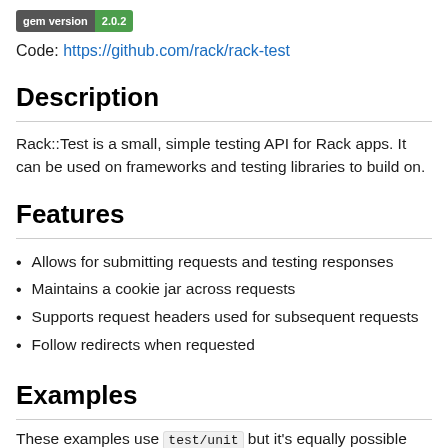[Figure (other): Gem version badge showing 'gem version 2.0.2' with dark grey label and green value]
Code: https://github.com/rack/rack-test
Description
Rack::Test is a small, simple testing API for Rack apps. It can be used on frameworks and testing libraries to build on.
Features
Allows for submitting requests and testing responses
Maintains a cookie jar across requests
Supports request headers used for subsequent requests
Follow redirects when requested
Examples
These examples use test/unit but it's equally possible u...